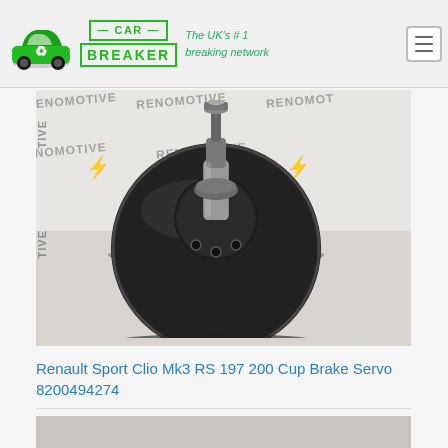CAR BREAKER — The UK's #1 breaking network
[Figure (photo): Photograph of a Renault Sport Clio Mk3 RS 197 200 Cup Brake Servo part number 8200494274, shown against a RENOMOTIVE branded backdrop. The brake servo is a large black circular disc-shaped vacuum booster unit with a central cylindrical stem topped by a metal clevis pin.]
Renault Sport Clio Mk3 RS 197 200 Cup Brake Servo 8200494274